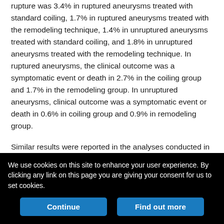rupture was 3.4% in ruptured aneurysms treated with standard coiling, 1.7% in ruptured aneurysms treated with the remodeling technique, 1.4% in unruptured aneurysms treated with standard coiling, and 1.8% in unruptured aneurysms treated with the remodeling technique. In ruptured aneurysms, the clinical outcome was a symptomatic event or death in 2.7% in the coiling group and 1.7% in the remodeling group. In unruptured aneurysms, clinical outcome was a symptomatic event or death in 0.6% in coiling group and 0.9% in remodeling group.
Similar results were reported in the analyses conducted in the ATENA and CLARITY series. In ATENA (unruptured aneurysms), the rate of intraoperative rupture was 3.2% in the remodeling group and 0.9% in the coiling group. Clinical outcome was a symptomatic event or...
We use cookies on this site to enhance your user experience. By clicking any link on this page you are giving your consent for us to set cookies.